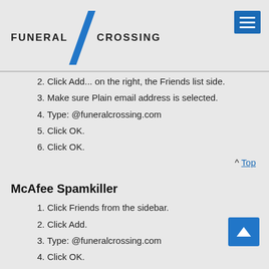FUNERAL CROSSING
2. Click Add... on the right, the Friends list side.
3. Make sure Plain email address is selected.
4. Type: @funeralcrossing.com
5. Click OK.
6. Click OK.
^ Top
McAfee Spamkiller
1. Click Friends from the sidebar.
2. Click Add.
3. Type: @funeralcrossing.com
4. Click OK.
^ Top
Oddpost
1. Check your 'Probably Spam' folder.